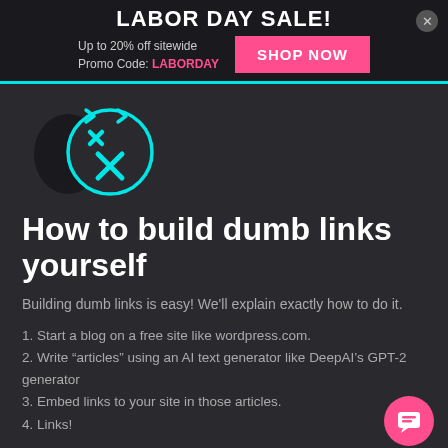LABOR DAY SALE! Up to 20% off sitewide Promo Code: LABORDAY SHOP NOW
[Figure (illustration): Dark circular emoji face with X eyes and crossed-out expression, outlined in cyan, on dark background]
How to build dumb links yourself
Building dumb links is easy! We’ll explain exactly how to do it.
1. Start a blog on a free site like wordpress.com.
2. Write “articles” using an AI text generator like DeepAI’s GPT-2 generator
3. Embed links to your site in those articles.
4. Links!